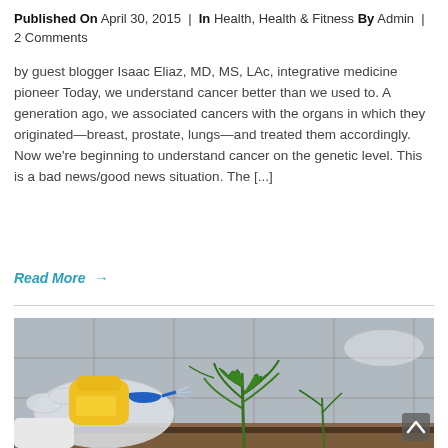Published On April 30, 2015 | In Health, Health & Fitness By Admin | 2 Comments
by guest blogger Isaac Eliaz, MD, MS, LAc, integrative medicine pioneer Today, we understand cancer better than we used to. A generation ago, we associated cancers with the organs in which they originated—breast, prostate, lungs—and treated them accordingly. Now we're beginning to understand cancer on the genetic level. This is a bad news/good news situation. The [...]
Read More →
[Figure (photo): A gloved hand holding a yellow and blue spray bottle pointed at a green thorny plant on a wooden surface, with a grey tiled wall in the background.]